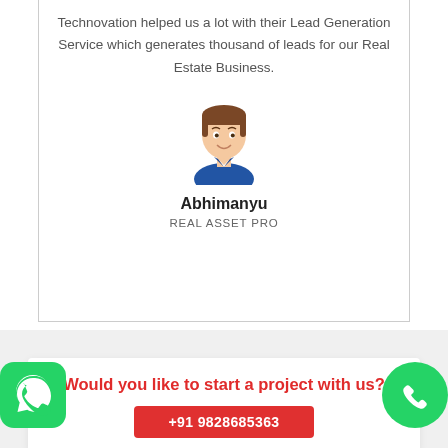Technovation helped us a lot with their Lead Generation Service which generates thousand of leads for our Real Estate Business.
[Figure (illustration): Cartoon avatar of a man in blue shirt with brown hair, smiling]
Abhimanyu
REAL ASSET PRO
Would you like to start a project with us?
[Figure (logo): WhatsApp green icon with phone handset on left side]
[Figure (logo): Green circle with white phone handset icon on right side]
+91 9828685363